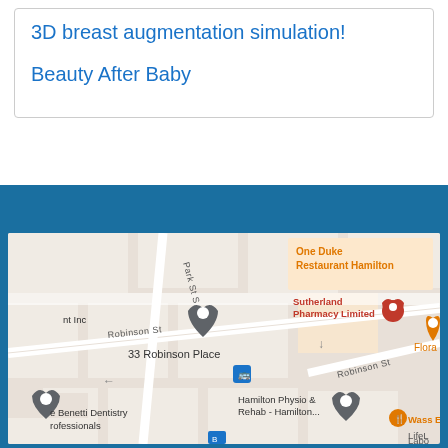3D breast augmentation simulation!
Beauty After Baby
[Figure (map): Google Maps screenshot showing 33 Robinson Place, Hamilton area with nearby landmarks including One Duke Restaurant Hamilton, Sutherland Pharmacy Limited, Hamilton Physio & Rehab, e Benetti Dentistry Professionals, Wass Eth, LifeL Labo, and Flora. Streets shown include Park St S, Robinson St, and others.]